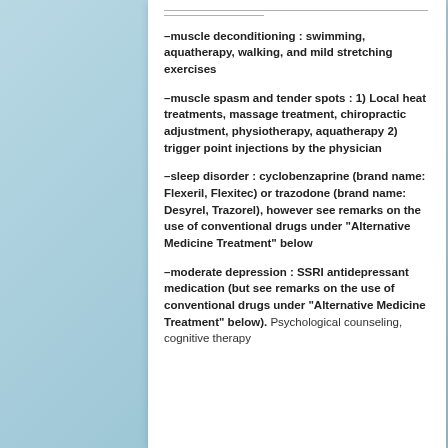–muscle deconditioning : swimming, aquatherapy, walking, and mild stretching exercises
–muscle spasm and tender spots : 1) Local heat treatments, massage treatment, chiropractic adjustment, physiotherapy, aquatherapy 2) trigger point injections by the physician
–sleep disorder : cyclobenzaprine (brand name: Flexeril, Flexitec) or trazodone (brand name: Desyrel, Trazorel), however see remarks on the use of conventional drugs under "Alternative Medicine Treatment" below
–moderate depression : SSRI antidepressant medication (but see remarks on the use of conventional drugs under "Alternative Medicine Treatment" below). Psychological counseling, cognitive therapy